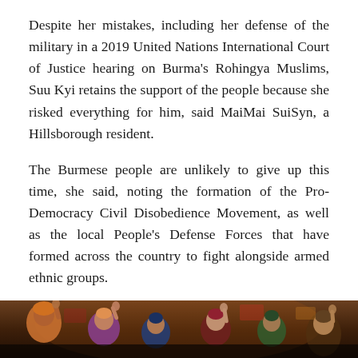Despite her mistakes, including her defense of the military in a 2019 United Nations International Court of Justice hearing on Burma's Rohingya Muslims, Suu Kyi retains the support of the people because she risked everything for him, said MaiMai SuiSyn, a Hillsborough resident.
The Burmese people are unlikely to give up this time, she said, noting the formation of the Pro-Democracy Civil Disobedience Movement, as well as the local People's Defense Forces that have formed across the country to fight alongside armed ethnic groups.
This includes in Chin State, a mountainous region of Burma where SuiSyn's family lived before fleeing across the border to India and Bangladesh. They lived in a flat in Malaysia for the next five years as police raids closed the border camps, she said.
[Figure (photo): A crowd of people at a protest or demonstration, partially visible at the bottom of the page. People appear to be raising hands. Dark, moody tones with warm lighting.]